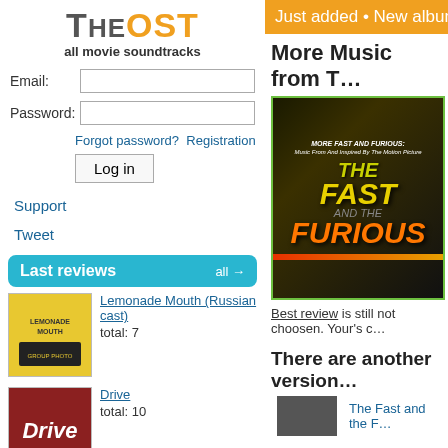TheOST – all movie soundtracks
Email: [input] Password: [input]
Forgot password? Registration
Log in
Support
Tweet
Last reviews  all →
Lemonade Mouth (Russian cast)
total: 7
Drive
total: 10
Brigada
total: 9
Fast Five
Just added • New albums
More Music from T…
[Figure (photo): More Fast and Furious: Music From and Inspired By The Motion Picture – The Fast and the Furious album cover]
Best review is still not choosen. Your's c…
There are another version…
The Fast and the F…